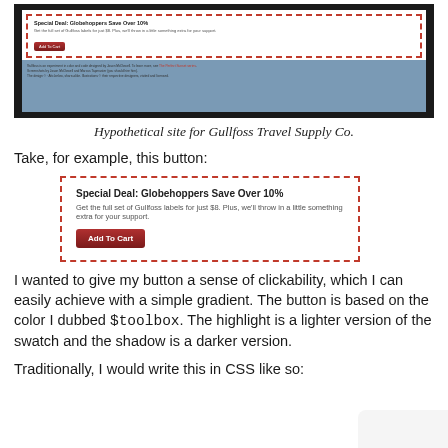[Figure (screenshot): Screenshot of hypothetical Gullfoss Travel Supply Co. website showing a deal box with dashed red border, 'Special Deal: Globehoppers Save Over 10%' heading, descriptive text, 'Add To Cart' button, and blue footer section.]
Hypothetical site for Gullfoss Travel Supply Co.
Take, for example, this button:
[Figure (screenshot): Zoomed-in screenshot of the deal box with dashed red border containing 'Special Deal: Globehoppers Save Over 10%' bold heading, 'Get the full set of Gullfoss labels for just $8. Plus, we'll throw in a little something extra for your support.' text, and a dark red 'Add To Cart' button.]
I wanted to give my button a sense of clickability, which I can easily achieve with a simple gradient. The button is based on the color I dubbed $toolbox. The highlight is a lighter version of the swatch and the shadow is a darker version.
Traditionally, I would write this in CSS like so: